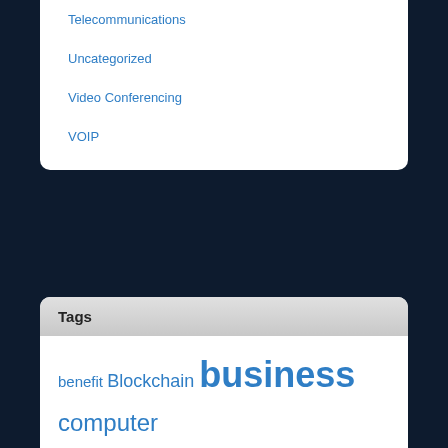Telecommunications
Uncategorized
Video Conferencing
VOIP
Partner Sites
Using Technology to support your career for better future
HDDZone.com provides hard drive pcb for data recovery purpose.
[Figure (photo): Broken image placeholder with small green/yellow icon]
Tags
benefit Blockchain business computer